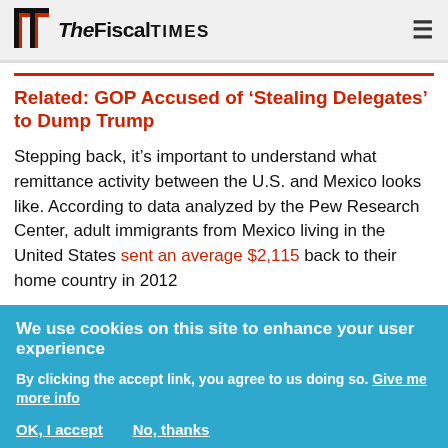The Fiscal Times
Related: GOP Accused of ‘Stealing Delegates’ to Dump Trump
Stepping back, it’s important to understand what remittance activity between the U.S. and Mexico looks like. According to data analyzed by the Pew Research Center, adult immigrants from Mexico living in the United States sent an average $2,115 back to their home country in 2012
Current Bank Secrecy Act and Anti-Money
We use cookies on this site to enhance your user experience
By clicking the accept link, you agree to us doing so. Give me more info
OK, I accept   No, thanks